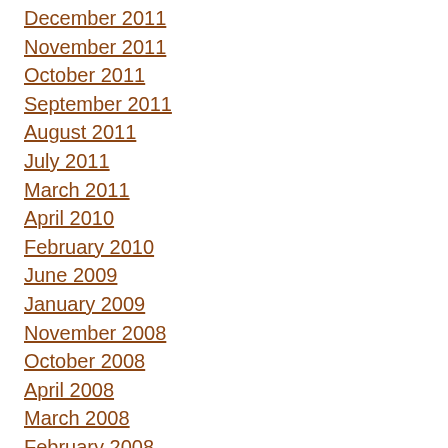December 2011
November 2011
October 2011
September 2011
August 2011
July 2011
March 2011
April 2010
February 2010
June 2009
January 2009
November 2008
October 2008
April 2008
March 2008
February 2008
January 2008
December 2007
November 2007